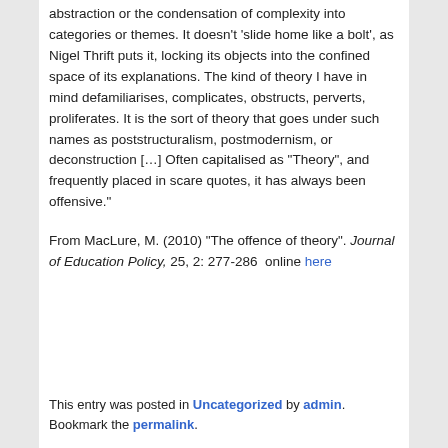abstraction or the condensation of complexity into categories or themes. It doesn't 'slide home like a bolt', as Nigel Thrift puts it, locking its objects into the confined space of its explanations. The kind of theory I have in mind defamiliarises, complicates, obstructs, perverts, proliferates. It is the sort of theory that goes under such names as poststructuralism, postmodernism, or deconstruction […] Often capitalised as "Theory", and frequently placed in scare quotes, it has always been offensive."
From MacLure, M. (2010) "The offence of theory". Journal of Education Policy, 25, 2: 277-286  online here
This entry was posted in Uncategorized by admin. Bookmark the permalink.